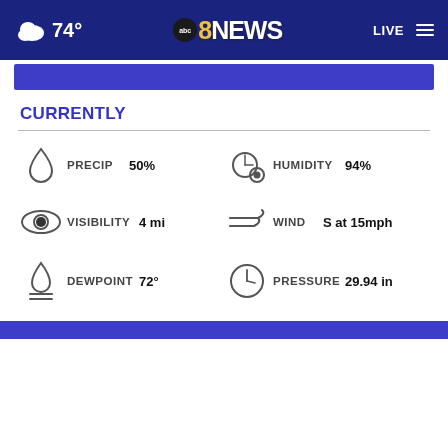74° | abc8NEWS | LIVE
CURRENTLY
[Figure (infographic): Weather conditions panel showing: PRECIP 50%, HUMIDITY 94%, VISIBILITY 4 mi, WIND S at 15mph, DEWPOINT 72°, PRESSURE 29.94 in, each with corresponding weather icons]